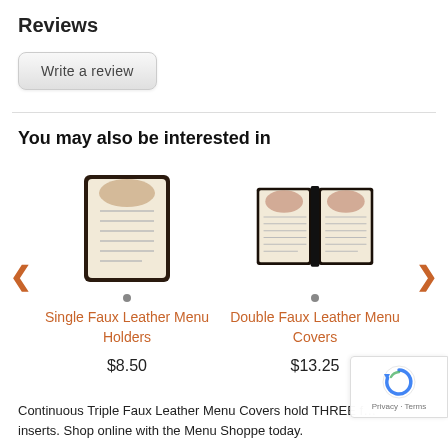Reviews
Write a review
You may also be interested in
[Figure (photo): Single Faux Leather Menu Holder product image]
Single Faux Leather Menu Holders
$8.50
[Figure (photo): Double Faux Leather Menu Cover product image]
Double Faux Leather Menu Covers
$13.25
Continuous Triple Faux Leather Menu Covers hold THREE f… inserts. Shop online with the Menu Shoppe today.